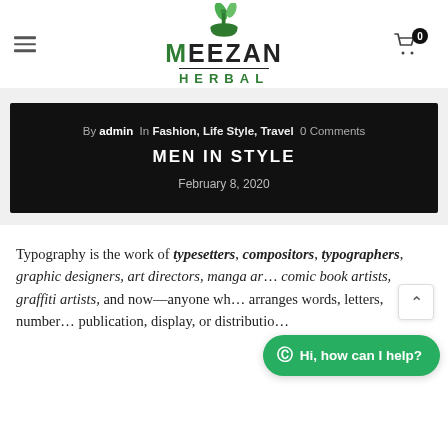[Figure (logo): Meezan Herbal logo with mortar and pestle icon and green leaves above bold text MEEZAN HERBAL]
By admin In Fashion, Life Style, Travel 0 Comments
MEN IN STYLE
February 8, 2020
Typography is the work of typesetters, compositors, typographers, graphic designers, art directors, manga artists, comic book artists, graffiti artists, and now—anyone who arranges words, letters, numbers, and symbols for publication, display, or distribution